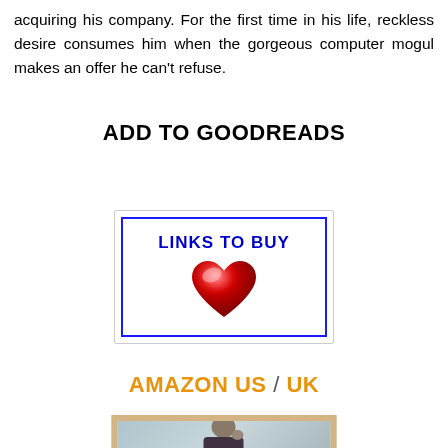acquiring his company. For the first time in his life, reckless desire consumes him when the gorgeous computer mogul makes an offer he can't refuse.
ADD TO GOODREADS
[Figure (other): A button/widget box with blue border and blue bold text 'LINKS TO BUY' with a red heart graphic below the text]
AMAZON US / UK
[Figure (photo): Partial photo of a man's face/upper body inside a tan/beige bordered frame with light blue-grey background]